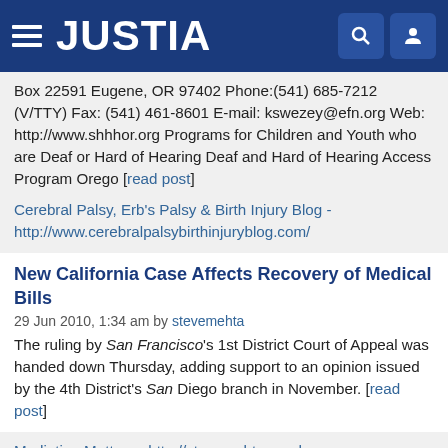JUSTIA
Box 22591 Eugene, OR 97402 Phone:(541) 685-7212 (V/TTY) Fax: (541) 461-8601 E-mail: kswezey@efn.org Web: http://www.shhhor.org Programs for Children and Youth who are Deaf or Hard of Hearing Deaf and Hard of Hearing Access Program Orego [read post]
Cerebral Palsy, Erb's Palsy & Birth Injury Blog - http://www.cerebralpalsybirthinjuryblog.com/
New California Case Affects Recovery of Medical Bills
29 Jun 2010, 1:34 am by stevemehta
The ruling by San Francisco's 1st District Court of Appeal was handed down Thursday, adding support to an opinion issued by the 4th District's San Diego branch in November. [read post]
Mediation Matters - http://stevemehta.wordpress.com